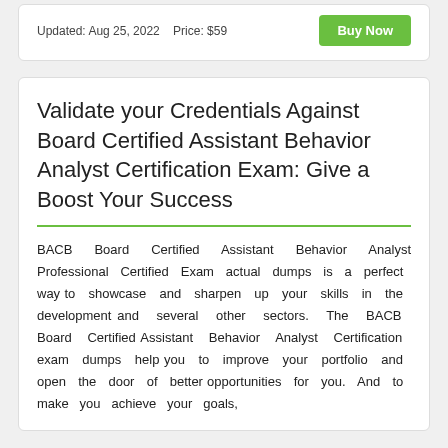Updated: Aug 25, 2022   Price: $59
Buy Now
Validate your Credentials Against Board Certified Assistant Behavior Analyst Certification Exam: Give a Boost Your Success
BACB Board Certified Assistant Behavior Analyst Professional Certified Exam actual dumps is a perfect way to showcase and sharpen up your skills in the development and several other sectors. The BACB Board Certified Assistant Behavior Analyst Certification exam dumps help you to improve your portfolio and open the door of better opportunities for you. And to make you achieve your goals,